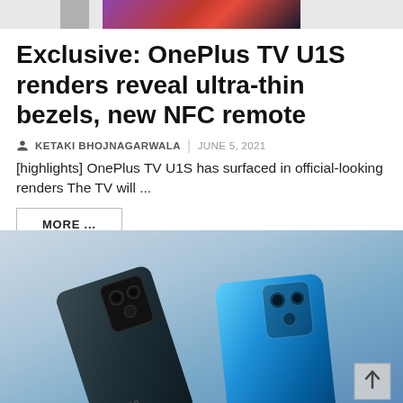[Figure (photo): Partial top image strip showing a colorful banner or phone image, cropped at the top of the page]
Exclusive: OnePlus TV U1S renders reveal ultra-thin bezels, new NFC remote
KETAKI BHOJNAGARWALA | JUNE 5, 2021
[highlights] OnePlus TV U1S has surfaced in official-looking renders The TV will ...
MORE ...
[Figure (photo): Two OPPO smartphones (one dark/black, one blue) shown from the back, displayed on a light blue/grey gradient background]